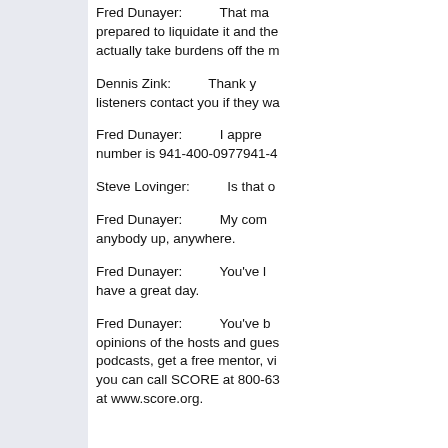[Figure (other): Left panel with light blue-gray background]
Fred Dunayer: That ma prepared to liquidate it and the actually take burdens off the m
Dennis Zink: Thank y listeners contact you if they wa
Fred Dunayer: I appre number is 941-400-0977941-4
Steve Lovinger: Is that o
Fred Dunayer: My com anybody up, anywhere.
Fred Dunayer: You've l have a great day.
Fred Dunayer: You've b opinions of the hosts and gues podcasts, get a free mentor, vi you can call SCORE at 800-63 at www.score.org.